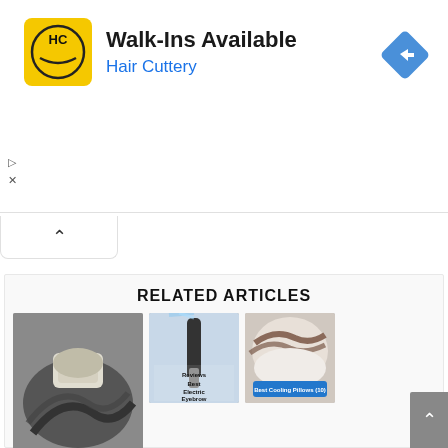[Figure (screenshot): Hair Cuttery advertisement banner with yellow logo, 'Walk-Ins Available' headline, blue 'Hair Cuttery' subtext, and a blue diamond navigation icon on the right.]
RELATED ARTICLES
[Figure (photo): Person washing hair with a bar of soap/shampoo bar over dark wet hair (large image on left)]
[Figure (photo): Electric eyebrow trimmer under running water with overlay text 'Reviews Best Electric Eyebrow Trimmer']
[Figure (photo): Woman smiling in bed with dark hair spread, blue button overlay text 'Best Cooling Pillows (10)']